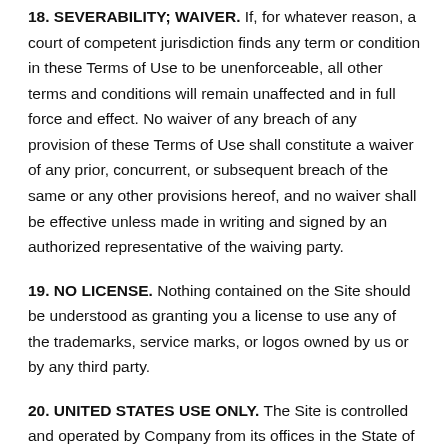18. SEVERABILITY; WAIVER. If, for whatever reason, a court of competent jurisdiction finds any term or condition in these Terms of Use to be unenforceable, all other terms and conditions will remain unaffected and in full force and effect. No waiver of any breach of any provision of these Terms of Use shall constitute a waiver of any prior, concurrent, or subsequent breach of the same or any other provisions hereof, and no waiver shall be effective unless made in writing and signed by an authorized representative of the waiving party.
19. NO LICENSE. Nothing contained on the Site should be understood as granting you a license to use any of the trademarks, service marks, or logos owned by us or by any third party.
20. UNITED STATES USE ONLY. The Site is controlled and operated by Company from its offices in the State of